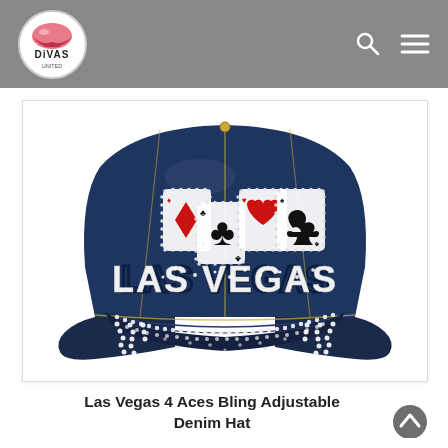DiVAS United
[Figure (photo): Las Vegas 4 Aces Bling Adjustable Denim Hat — a dark denim baseball cap with rhinestone 'LAS VEGAS' lettering on the front panel, four playing card suit emblems (diamond, club, heart, spade) on white card patches decorated with rhinestones, and a rhinestone-trimmed brim.]
Las Vegas 4 Aces Bling Adjustable Denim Hat